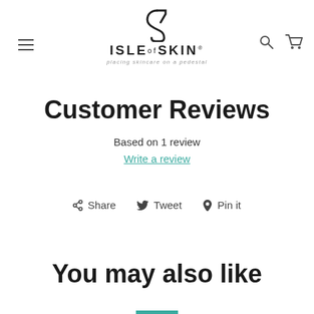Isle of Skin — placing skincare on a pedestal (logo, menu, search, cart)
Customer Reviews
Based on 1 review
Write a review
Share  Tweet  Pin it
You may also like